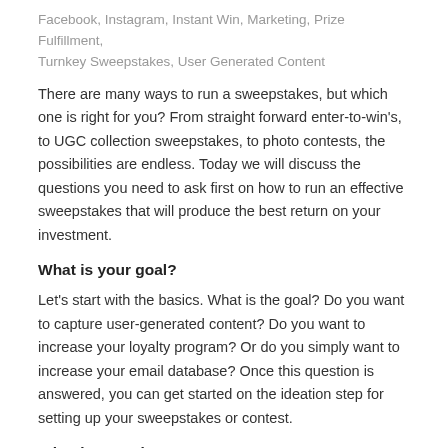Facebook, Instagram, Instant Win, Marketing, Prize Fulfillment, Turnkey Sweepstakes, User Generated Content
There are many ways to run a sweepstakes, but which one is right for you? From straight forward enter-to-win's, to UGC collection sweepstakes, to photo contests, the possibilities are endless. Today we will discuss the questions you need to ask first on how to run an effective sweepstakes that will produce the best return on your investment.
What is your goal?
Let's start with the basics. What is the goal? Do you want to capture user-generated content? Do you want to increase your loyalty program? Or do you simply want to increase your email database? Once this question is answered, you can get started on the ideation step for setting up your sweepstakes or contest.
What is your theme?
Is this campaign a one-off to drive a new product? Do you want to offer sweepstakes quarterly to attract loyalty from your consumers? Do you want to center the sweepstakes around a holiday? Themes will help